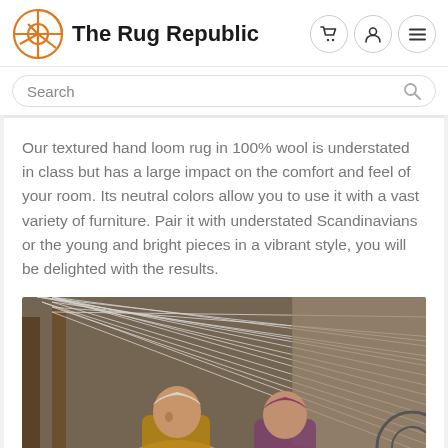The Rug Republic
Our textured hand loom rug in 100% wool is understated in class but has a large impact on the comfort and feel of your room. Its neutral colors allow you to use it with a vast variety of furniture. Pair it with understated Scandinavians or the young and bright pieces in a vibrant style, you will be delighted with the results.
[Figure (photo): Two women working at a hand loom weaving machine with white threads stretched across the loom frame, in a workshop setting.]